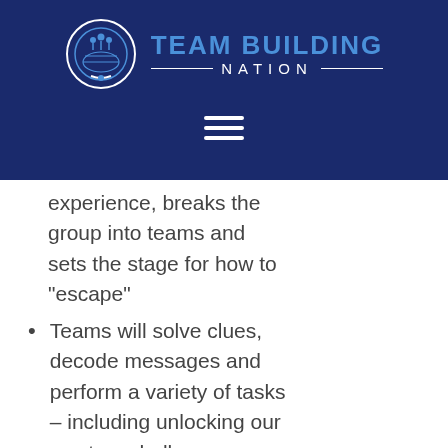[Figure (logo): Team Building Nation logo with circular emblem showing people around a globe and handshake, blue header background with brand name]
experience, breaks the group into teams and sets the stage for how to “escape”
Teams will solve clues, decode messages and perform a variety of tasks – including unlocking our mystery challenge locations – in an effort to